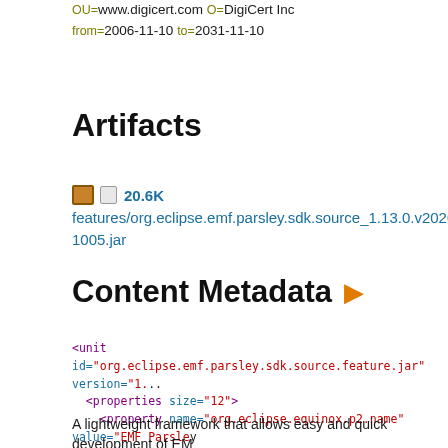OU=www.digicert.com O=DigiCert Inc
from=2006-11-10 to=2031-11-10
Artifacts
20.6K features/org.eclipse.emf.parsley.sdk.source_1.13.0.v20201130-1005.jar
Content Metadata
<unit id="org.eclipse.emf.parsley.sdk.source.feature.jar" version="1...
  <properties size="12">
    <property name="org.eclipse.equinox.p2.name" value="EMF Parsle...
    <property name="org.eclipse.equinox.p2.description" value="Work...
A lightweight framework that allows easy and quick development of EM...
It aims at providing a set of Components like Trees, Tables and Detail F...
<property name="org.eclipse.equinox.p2.description.url" value="ht...
<property name="org.eclipse.equinox.p2.provider" value="%provid...
<property name="org.eclipse.update.feature.plugin" value="org.ec...